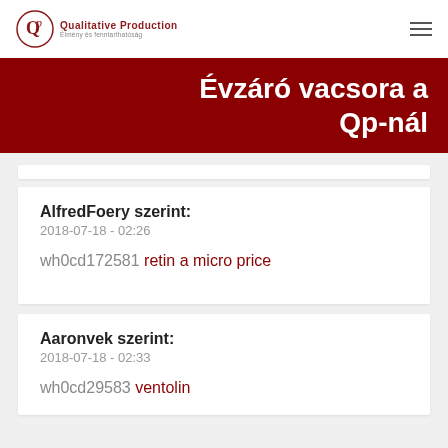Qualitative Production
Évzáró vacsora a Qp-nál
AlfredFoery szerint:
2018-07-18 - 02:26
wh0cd172581 retin a micro price
Aaronvek szerint:
2018-07-18 - 02:33
wh0cd29583 ventolin